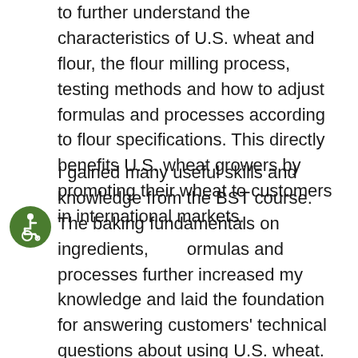to further understand the characteristics of U.S. wheat and flour, the flour milling process, testing methods and how to adjust formulas and processes according to flour specifications. This directly benefits U.S. wheat growers by promoting their wheat to customers in international markets.
I gained many useful skills and knowledge from the BST course. The baking fundamentals on ingredients, formulas and processes further increased my knowledge and laid the foundation for answering customers' technical questions about using U.S. wheat. Large-scale production experiments and the operation component deepened my understanding of actual production, making me feel more confident to provide on-site technical service. Moreover, the introduction of global bakery trends enabled me to learn about other countries and promote these trends